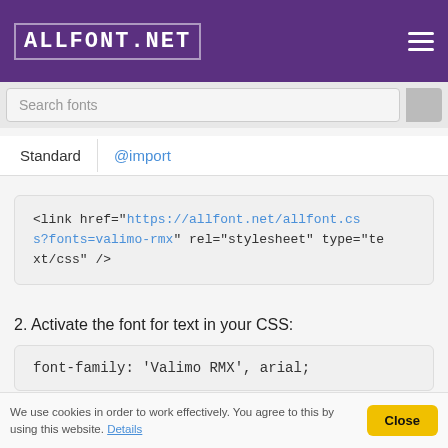allfont.net
Search fonts
Standard | @import
<link href="https://allfont.net/allfont.css?fonts=valimo-rmx" rel="stylesheet" type="text/css" />
2. Activate the font for text in your CSS:
font-family: 'Valimo RMX', arial;
Sample source code:
We use cookies in order to work effectively. You agree to this by using this website. Details  Close